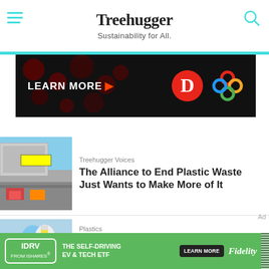Treehugger — Sustainability for All.
[Figure (photo): Treehugger website advertisement banner: black background with 'LEARN MORE' text and brand logos including a red D logo and a colorful flower-knot logo]
[Figure (photo): Aerial highway interchange with trucks and road signs overhead]
Treehugger Voices
The Alliance to End Plastic Waste Just Wants to Make More of It
[Figure (photo): Blue-gloved hands holding a yellow liquid in a plastic tube]
Plastics
Vinyl: The Plastic Found in (Almost) Everything
[Figure (photo): Bottom advertisement banner: green background with IDRV from iShares, The Self-Driving EV & Tech ETF, Learn More button, and Fidelity logo]